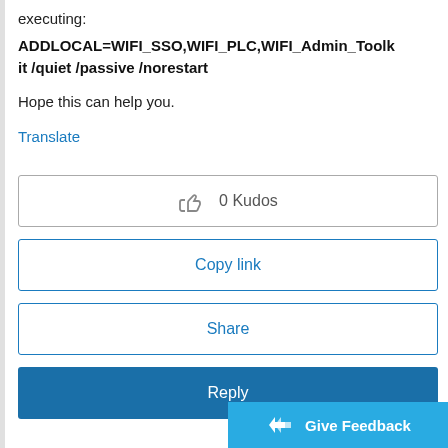executing:
ADDLOCAL=WIFI_SSO,WIFI_PLC,WIFI_Admin_Toolkit /quiet /passive /norestart
Hope this can help you.
Translate
0 Kudos
Copy link
Share
Reply
Give Feedback